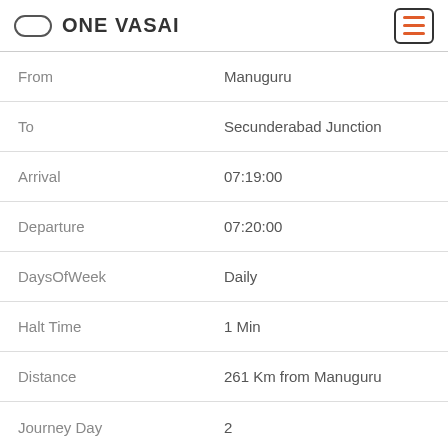ONE VASAI
| Field | Value |
| --- | --- |
| From | Manuguru |
| To | Secunderabad Junction |
| Arrival | 07:19:00 |
| Departure | 07:20:00 |
| DaysOfWeek | Daily |
| Halt Time | 1 Min |
| Distance | 261 Km from Manuguru |
| Journey Day | 2 |
| Field | Value |
| --- | --- |
| No | 17234 |
| Name | bhagyanagar Express (ALER) |
| From | Balharshah |
| To | Secunderabad Junction |